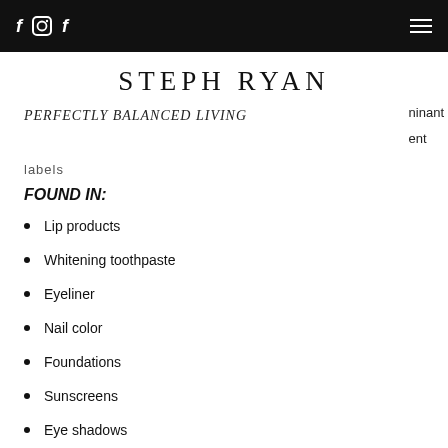f [instagram] f  [hamburger menu]
STEPH RYAN
PERFECTLY BALANCED LIVING
ninant
ent
labels
FOUND IN:
Lip products
Whitening toothpaste
Eyeliner
Nail color
Foundations
Sunscreens
Eye shadows
Blush
Concealer
Moisturizers